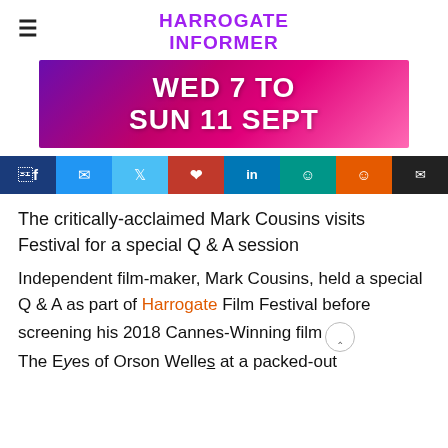HARROGATE INFORMER
[Figure (illustration): Promotional banner with gradient purple-to-pink background reading 'WED 7 to SUN 11 SEPT' in large bold white text]
[Figure (infographic): Row of social sharing buttons: Facebook (dark blue), Messenger (blue), Twitter (light blue), Pinterest (red), LinkedIn (blue), WhatsApp (teal), Reddit (orange), Email (black)]
The critically-acclaimed Mark Cousins visits Festival for a special Q & A session
Independent film-maker, Mark Cousins, held a special Q & A as part of Harrogate Film Festival before screening his 2018 Cannes-Winning film The Eyes of Orson Welles at a packed-out...